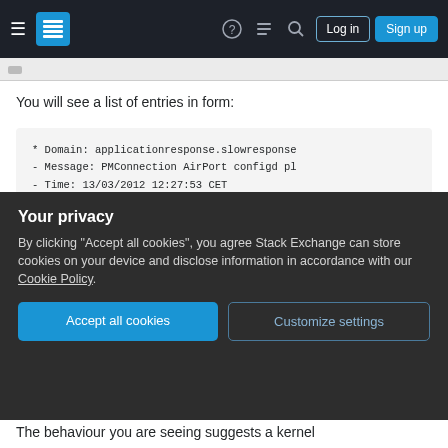Stack Exchange navigation bar with hamburger menu, logo, icons, Log in and Sign up buttons
You will see a list of entries in form:
* Domain: applicationresponse.slowresponse
- Message: PMConnection AirPort configd pl
- Time: 13/03/2012 12:27:53 CET
- Signature: AirPort configd plug-in
- UUID: AB482838-2D6E-0000-0000-14BF53E200
- Result: Noop
- Response time (ms): 1399
Look out for applications that may be keeping your
Your privacy
By clicking "Accept all cookies", you agree Stack Exchange can store cookies on your device and disclose information in accordance with our Cookie Policy.
Accept all cookies
Customize settings
The behaviour you are seeing suggests a kernel